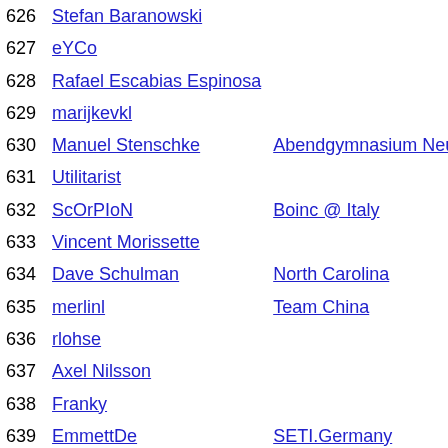| Rank | Name | Team | Score |
| --- | --- | --- | --- |
| 626 | Stefan Baranowski |  | 11 |
| 627 | eYCo |  | 11 |
| 628 | Rafael Escabias Espinosa |  | 11 |
| 629 | marijkevkl |  | 11 |
| 630 | Manuel Stenschke | Abendgymnasium Neubrandenburg | 11 |
| 631 | Utilitarist |  | 111 |
| 632 | ScOrPIoN | Boinc @ Italy | 11 |
| 633 | Vincent Morissette |  | 11 |
| 634 | Dave Schulman | North Carolina | 11 |
| 635 | merlinl | Team China | 11 |
| 636 | rlohse |  | 11 |
| 637 | Axel Nilsson |  | 11 |
| 638 | Franky |  | 11 |
| 639 | EmmettDe | SETI.Germany | 59 |
| 640 | dampf | Rechenkraft.net | 59 |
| 641 | KinteLiX | Romania | 59 |
| 642 | auqfe |  | 59 |
| 643 | NoName1477 |  | 59 |
| 644 | Arcie Mizelle | USA | 59 |